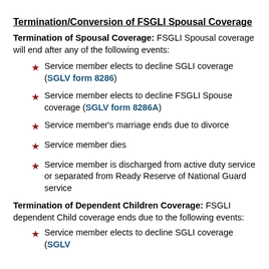Termination/Conversion of FSGLI Spousal Coverage
Termination of Spousal Coverage: FSGLI Spousal coverage will end after any of the following events:
Service member elects to decline SGLI coverage (SGLV form 8286)
Service member elects to decline FSGLI Spouse coverage (SGLV form 8286A)
Service member's marriage ends due to divorce
Service member dies
Service member is discharged from active duty service or separated from Ready Reserve of National Guard service
Termination of Dependent Children Coverage: FSGLI dependent Child coverage ends due to the following events:
Service member elects to decline SGLI coverage (SGLV